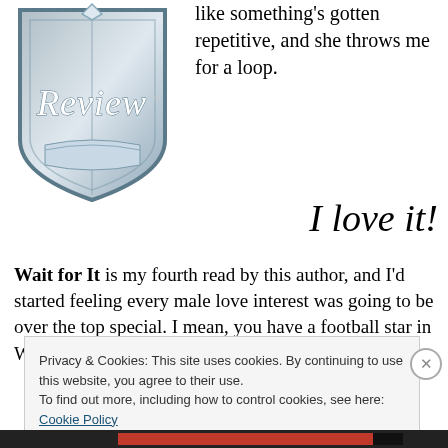[Figure (logo): Review magazine logo — an illustrated badge/shield shape in blue-grey with cursive 'Review' text]
like something's gotten repetitive, and she throws me for a loop.
I love it!
Wait for It is my fourth read by this author, and I'd started feeling every male love interest was going to be over the top special. I mean, you have a football star in Wall of Winnipeg. In Kulti, he
Privacy & Cookies: This site uses cookies. By continuing to use this website, you agree to their use.
To find out more, including how to control cookies, see here: Cookie Policy
Close and accept